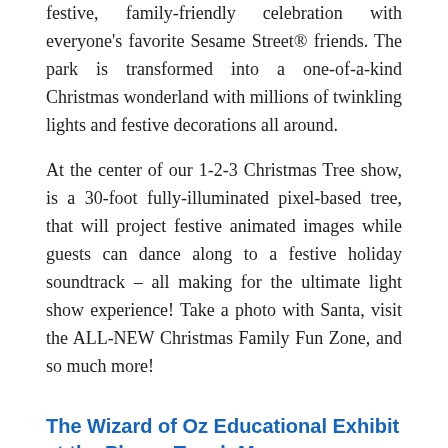festive, family-friendly celebration with everyone's favorite Sesame Street® friends. The park is transformed into a one-of-a-kind Christmas wonderland with millions of twinkling lights and festive decorations all around.
At the center of our 1-2-3 Christmas Tree show, is a 30-foot fully-illuminated pixel-based tree, that will project festive animated images while guests can dance along to a festive holiday soundtrack – all making for the ultimate light show experience! Take a photo with Santa, visit the ALL-NEW Christmas Family Fun Zone, and so much more!
The Wizard of Oz Educational Exhibit at the Please Touch Museum
The Wizard of Oz Educational Exhibit, a traveling exhibit